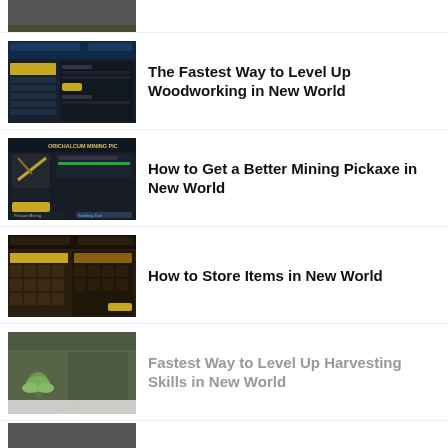[Figure (screenshot): Partial game screenshot at top, cropped]
[Figure (screenshot): Game UI screenshot showing woodworking/crafting menu in New World]
The Fastest Way to Level Up Woodworking in New World
[Figure (screenshot): Game screenshot showing Orichalcum Mining Pickaxe item info screen]
How to Get a Better Mining Pickaxe in New World
[Figure (screenshot): Game screenshot showing inventory/storage UI in New World]
How to Store Items in New World
[Figure (screenshot): Game screenshot showing outdoor harvesting scene in New World]
Fastest Way to Level Up Harvesting Skills in New World
[Figure (screenshot): Partial game screenshot at bottom, cropped]